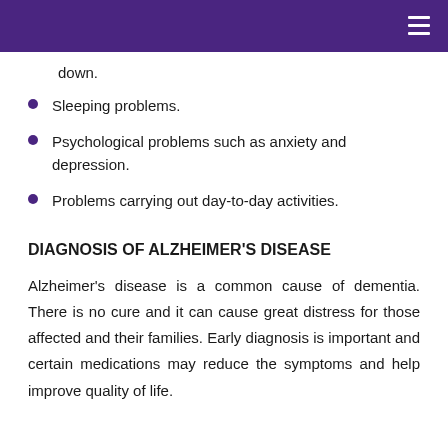down.
Sleeping problems.
Psychological problems such as anxiety and depression.
Problems carrying out day-to-day activities.
DIAGNOSIS OF ALZHEIMER'S DISEASE
Alzheimer's disease is a common cause of dementia. There is no cure and it can cause great distress for those affected and their families. Early diagnosis is important and certain medications may reduce the symptoms and help improve quality of life.